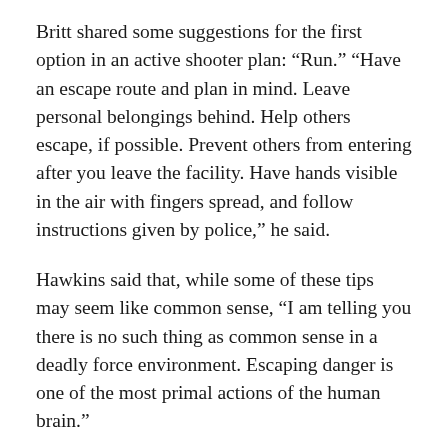Britt shared some suggestions for the first option in an active shooter plan: “Run.” “Have an escape route and plan in mind. Leave personal belongings behind. Help others escape, if possible. Prevent others from entering after you leave the facility. Have hands visible in the air with fingers spread, and follow instructions given by police,” he said.
Hawkins said that, while some of these tips may seem like common sense, “I am telling you there is no such thing as common sense in a deadly force environment. Escaping danger is one of the most primal actions of the human brain.”
Next, Britt discussed “Hide.” If running is not an option, look for ways to barricade and secure doors, he said. “Limit entry points. Silence phones.